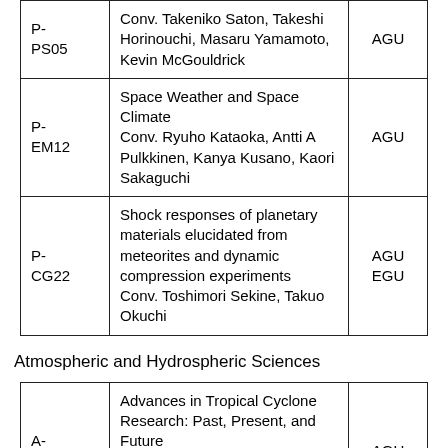| Code | Description | Org |
| --- | --- | --- |
| P-PS05 | Conv. Takeniko Saton, Takeshi Horinouchi, Masaru Yamamoto, Kevin McGouldrick | AGU |
| P-EM12 | Space Weather and Space Climate
Conv. Ryuho Kataoka, Antti A Pulkkinen, Kanya Kusano, Kaori Sakaguchi | AGU |
| P-CG22 | Shock responses of planetary materials elucidated from meteorites and dynamic compression experiments
Conv. Toshimori Sekine, Takuo Okuchi | AGU
EGU |
Atmospheric and Hydrospheric Sciences
| Code | Description | Org |
| --- | --- | --- |
| A-AS02 | Advances in Tropical Cyclone Research: Past, Present, and Future
Conv. Sachie Kanada, Akiyoshi Wada, Kosuke Ito, Yoshiaki Miyamoto | AGU |